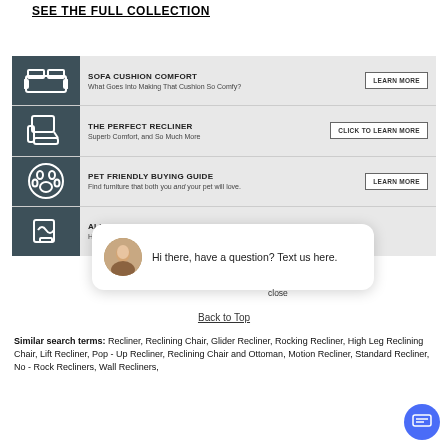SEE THE FULL COLLECTION
[Figure (infographic): Furniture buying guide infographic with four rows: Sofa Cushion Comfort, The Perfect Recliner, Pet Friendly Buying Guide, Allergy guide. Each row has a dark teal icon column on the left, a title and subtitle in the middle, and a Learn More/Click to Learn More button on the right.]
[Figure (other): Live chat bubble popup with avatar photo of a woman and text: Hi there, have a question? Text us here. With a close button and a circular blue chat icon button in the bottom right corner.]
Back to Top
Similar search terms: Recliner, Reclining Chair, Glider Recliner, Rocking Recliner, High Leg Reclining Chair, Lift Recliner, Pop - Up Recliner, Reclining Chair and Ottoman, Motion Recliner, Standard Recliner, No - Rock Recliners, Wall Recliners,